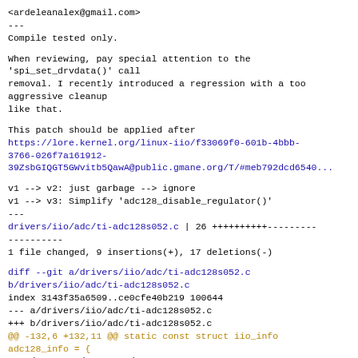<ardeleanalex@gmail.com>
---
Compile tested only.
When reviewing, pay special attention to the 'spi_set_drvdata()' call removal. I recently introduced a regression with a too aggressive cleanup like that.
This patch should be applied after https://lore.kernel.org/linux-iio/f33069f0-601b-4bbb-3766-026f7a161912-39ZsbGIQGT5GWvitb5QawA@public.gmane.org/T/#meb792dcd6540...
v1 --> v2: just garbage --> ignore
v1 --> v3: Simplify 'adc128_disable_regulator()'
---
 drivers/iio/adc/ti-adc128s052.c | 26 ++++++++++---------
 1 file changed, 9 insertions(+), 17 deletions(-)
diff --git a/drivers/iio/adc/ti-adc128s052.c b/drivers/iio/adc/ti-adc128s052.c
index 3143f35a6509..ce0cfe40b219 100644
--- a/drivers/iio/adc/ti-adc128s052.c
+++ b/drivers/iio/adc/ti-adc128s052.c
@@ -132,6 +132,11 @@ static const struct iio_info adc128_info = {
        .read_raw = adc128_read_raw,